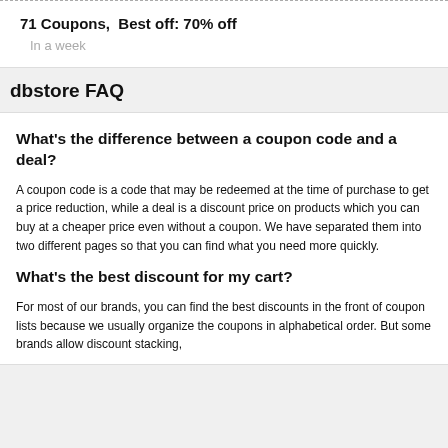71 Coupons,  Best off: 70% off
In a week
dbstore FAQ
What's the difference between a coupon code and a deal?
A coupon code is a code that may be redeemed at the time of purchase to get a price reduction, while a deal is a discount price on products which you can buy at a cheaper price even without a coupon. We have separated them into two different pages so that you can find what you need more quickly.
What's the best discount for my cart?
For most of our brands, you can find the best discounts in the front of coupon lists because we usually organize the coupons in alphabetical order. But some brands allow discount stacking, which...